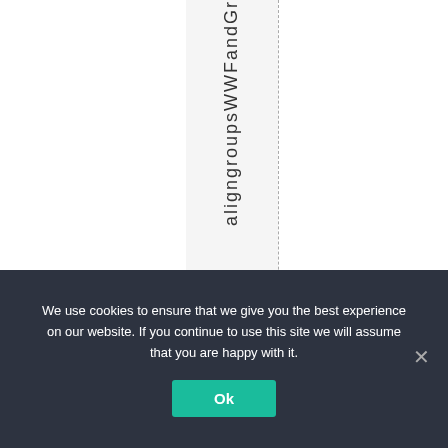[Figure (other): A table or grid layout with dashed column dividers. The middle column has a shaded background with vertically written text reading 'aligngroupsWWFandGr' (rotated 90 degrees). Left and right columns are white/blank.]
We use cookies to ensure that we give you the best experience on our website. If you continue to use this site we will assume that you are happy with it.